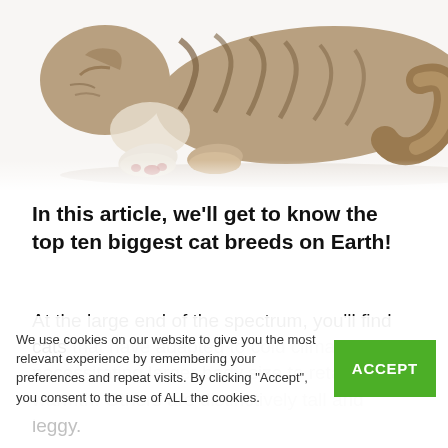[Figure (photo): A tabby cat lying down on a white background, viewed from above/side, showing fur stripes, paws with pink pads, and fluffy tail.]
In this article, we'll get to know the top ten biggest cat breeds on Earth!
At the large end of the spectrum, you'll find cats that have adapted to cold climates, necessitating larger body size to retain warmth. Others are distinctively tall and leggy.
We use cookies on our website to give you the most relevant experience by remembering your preferences and repeat visits. By clicking "Accept", you consent to the use of ALL the cookies.
Some of the largest cat breeds are domesticated cats little more than a few generations away from their wildcat roots. These exotic hybrids include the Cheetoh, Savannah, and Chausie.